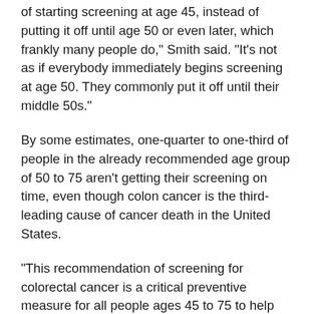of starting screening at age 45, instead of putting it off until age 50 or even later, which frankly many people do," Smith said. "It's not as if everybody immediately begins screening at age 50. They commonly put it off until their middle 50s."
By some estimates, one-quarter to one-third of people in the already recommended age group of 50 to 75 aren't getting their screening on time, even though colon cancer is the third-leading cause of cancer death in the United States.
"This recommendation of screening for colorectal cancer is a critical preventive measure for all people ages 45 to 75 to help them live longer and healthier lives," Wong said.
Noting Black adults have particularly high rates of